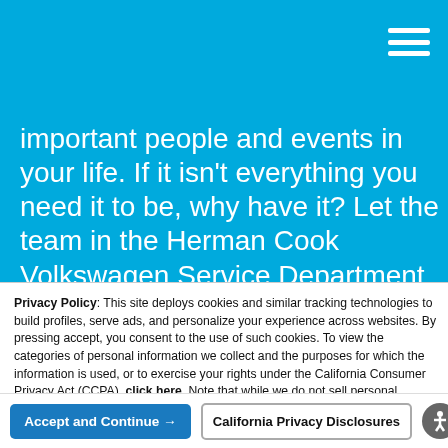important people and events in your life. If it isn't everything you need it to be, why have it? Let the team in the Herman Cook Volkswagen Service Department help get your vehicle functioning at its best.

Our automotive technicians are all Volkswagen factory trained and certified and 80 percent have achieved
Privacy Policy: This site deploys cookies and similar tracking technologies to build profiles, serve ads, and personalize your experience across websites. By pressing accept, you consent to the use of such cookies. To view the categories of personal information we collect and the purposes for which the information is used, or to exercise your rights under the California Consumer Privacy Act (CCPA), click here. Note that while we do not sell personal information for monetary value, we disclose personal information to third parties, such as vehicle manufacturers, in such a way that may be considered a "sale" of personal information under the CCPA. To direct us to stop the sale of your personal information, or to re-access these settings or disclosures at anytime, click the following icon or link:
Do Not Sell My Personal Information
Language: English   Powered by ComplyAuto
Accept and Continue →
California Privacy Disclosures